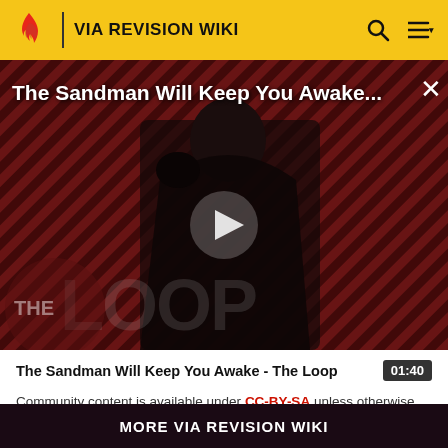VIA REVISION WIKI
[Figure (screenshot): Video thumbnail for 'The Sandman Will Keep You Awake - The Loop' showing a dark-cloaked figure against a red diagonal striped background with THE LOOP logo overlay and a play button]
The Sandman Will Keep You Awake - The Loop
Community content is available under CC-BY-SA unless otherwise noted.
MORE VIA REVISION WIKI